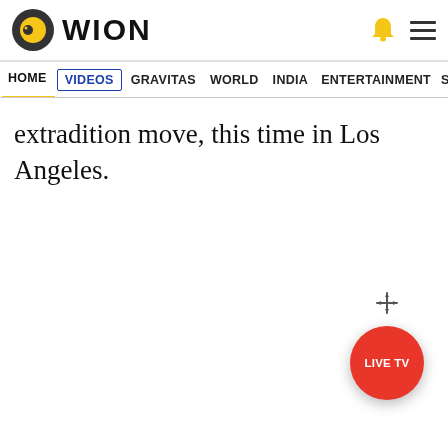WION
HOME VIDEOS GRAVITAS WORLD INDIA ENTERTAINMENT SPORTS
extradition move, this time in Los Angeles.
[Figure (screenshot): Red circular LIVE TV button with a move/drag crosshair icon above it]